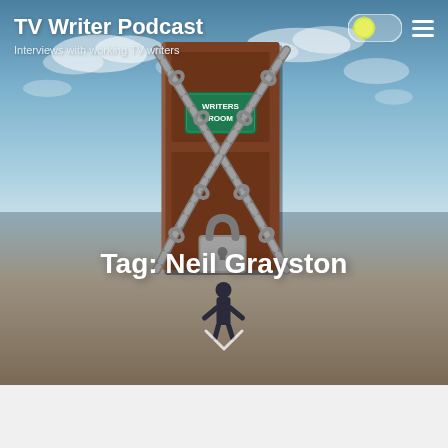TV Writer Podcast
Interviews with working TV writers
[Figure (illustration): A wooden door with a 'Writers Room' green sign, wrapped in heavy chains and a padlock, with a person standing in front of it, set against a surreal landscape with sky and desert ground.]
Tag: Neil Grayston